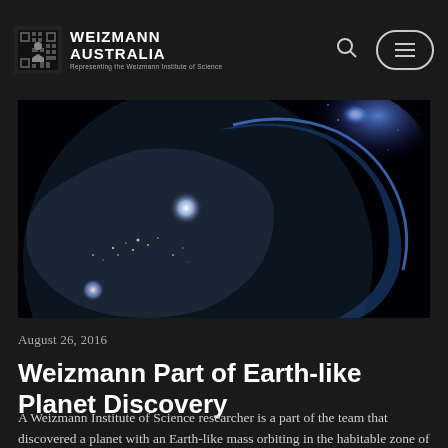WEIZMANN AUSTRALIA — Representing the Weizmann Institute of Science
[Figure (photo): Dramatic space view of Earth from orbit showing city lights on the night side and a glowing blue atmospheric limb against a starfield background]
August 26, 2016
Weizmann Part of Earth-like Planet Discovery
A Weizmann Institute of Science researcher is a part of the team that discovered a planet with an Earth-like mass orbiting in the habitable zone of our nearest stellar neighbour,...